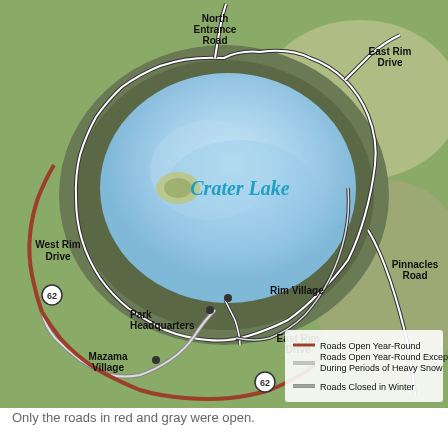[Figure (map): Aerial/satellite map of Crater Lake National Park showing the lake and surrounding roads. Labels include: North Entrance Road (top center-left), East Rim Drive (top right), West Rim Drive (left), Rim Village (center), Park Headquarters (center-left), East Rim Drive (lower center), Pinnacles Road (right), Mazama Village (lower left), Route 62 (lower left and lower center). A legend shows: Roads Open Year-Round (red/brown line), Roads Open Year-Round Except During Periods of Heavy Snow (gray double line), Roads Closed in Winter (black double line). Crater Lake label appears in cyan italic text over the blue lake.]
Only the roads in red and gray were open.